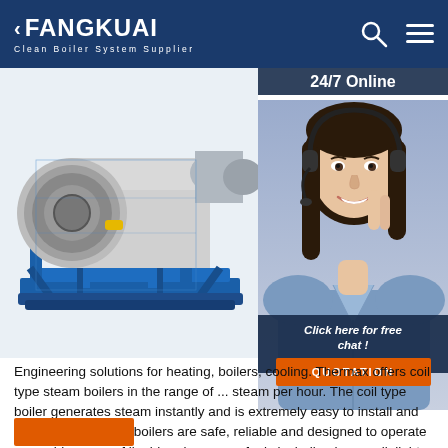FANGKUAI — Clean Boiler System Supplier
[Figure (photo): Industrial horizontal fire-tube boiler with blue steel frame on a white background]
[Figure (photo): 24/7 Online customer service representative (woman with headset smiling). Includes '24/7 Online' label, 'Click here for free chat!' text, and QUOTATION button.]
Engineering solutions for heating, boilers, cooling. Thermax offers coil type steam boilers in the range of ... steam per hour. The coil type boiler generates steam instantly and is extremely easy to install and commission. These boilers are safe, reliable and designed to operate on a wide range of liquid and gaseous fuels including heavy oil, light oil, gas, and dual fuel options.